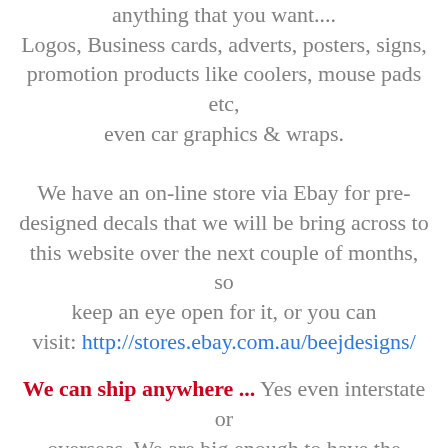anything that you want....
Logos, Business cards, adverts, posters, signs, promotion products like coolers, mouse pads etc, even car graphics & wraps.
We have an on-line store via Ebay for pre-designed decals that we will be bring across to this website over the next couple of months, so keep an eye open for it, or you can visit: http://stores.ebay.com.au/beejdesigns/

We can ship anywhere ... Yes even interstate or overseas. We are big enough to have the experience and knowledge but small enough to care about the work we produce, and we understand the importance of word of mouth.